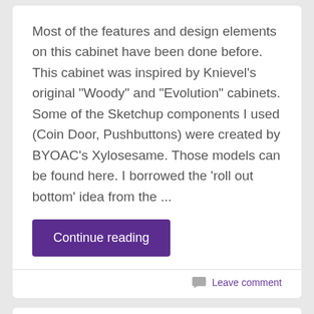Most of the features and design elements on this cabinet have been done before. This cabinet was inspired by Knievel's original “Woody” and “Evolution” cabinets. Some of the Sketchup components I used (Coin Door, Pushbuttons) were created by BYOAC’s Xylosesame. Those models can be found here. I borrowed the ‘roll out bottom’ idea from the ...
Continue reading
Leave comment
Bling, Baby!
OCT 10 2008
Filed under 1) Planning, 2) Cabinet, 8) Software Configuration